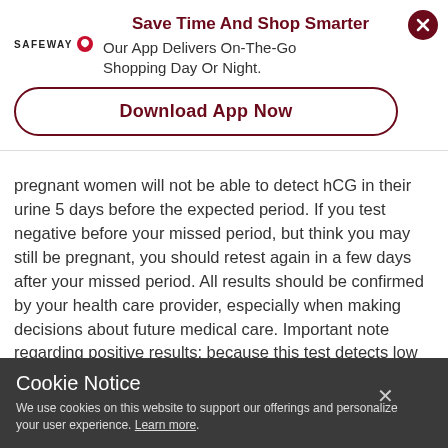[Figure (screenshot): Safeway app advertisement banner with logo, title 'Save Time And Shop Smarter', subtitle 'Our App Delivers On-The-Go Shopping Day Or Night.', and a 'Download App Now' button. A close (X) button is in the top-right corner.]
pregnant women will not be able to detect hCG in their urine 5 days before the expected period. If you test negative before your missed period, but think you may still be pregnant, you should retest again in a few days after your missed period. All results should be confirmed by your health care provider, especially when making decisions about future medical care. Important note regarding positive results: because this test detects low levels of hCG, it is possible that this test may give positive results even if you are not pregnant. If you test positive, but think you may not be pregnant, you should [continues]
Cookie Notice
We use cookies on this website to support our offerings and personalize your user experience. Learn more.